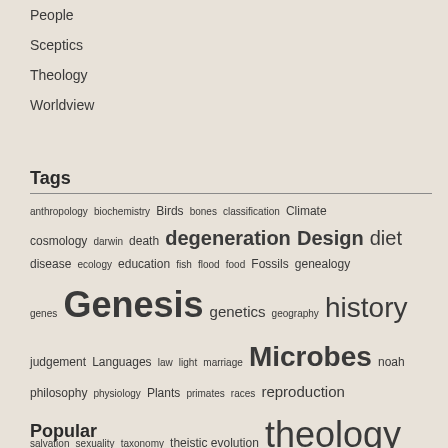People
Sceptics
Theology
Worldview
Tags
anthropology biochemistry Birds bones classification Climate cosmology darwin death degeneration Design diet disease ecology education fish flood food Fossils genealogy genes Genesis genetics geography history judgement Languages law light marriage Microbes noah philosophy physiology Plants primates races reproduction salvation sexuality taxonomy theistic evolution theology time world view
Popular